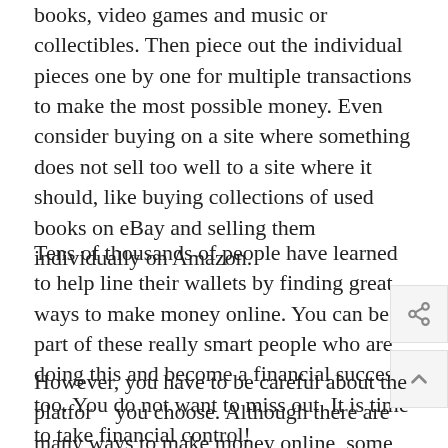books, video games and music or collectibles. Then piece out the individual pieces one by one for multiple transactions to make the most possible money. Even consider buying on a site where something does not sell too well to a site where it should, like buying collections of used books on eBay and selling them individually on Amazon.
Tens of thousands of people have learned to help line their wallets by finding great ways to make money online. You can be part of these really smart people who are doing this and become a financial success, too. You do not want to miss out. It is time to take financial control!
However, you have to be careful about the platform you choose. Although there are many ways to make money online, some of them could become scams, so